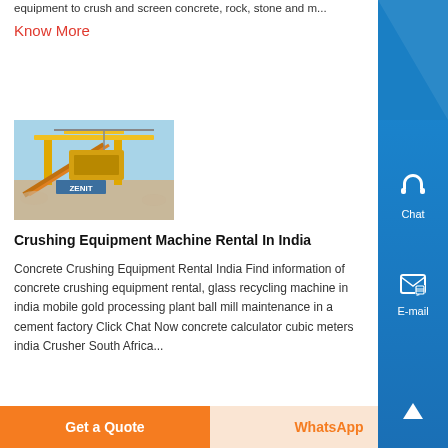equipment to crush and screen concrete, rock, stone and m...
Know More
[Figure (photo): Yellow heavy crushing/screening equipment (ZENIT branded) at a construction or mining site outdoors]
Crushing Equipment Machine Rental In India
Concrete Crushing Equipment Rental India Find information of concrete crushing equipment rental, glass recycling machine in india mobile gold processing plant ball mill maintenance in a cement factory Click Chat Now concrete calculator cubic meters india Crusher South Africa...
Get a Quote
WhatsApp